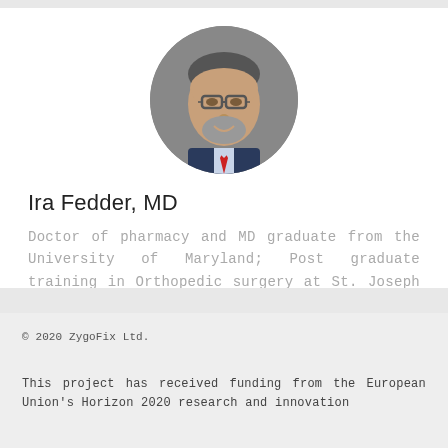[Figure (photo): Circular headshot portrait of a middle-aged man with glasses, grey beard, wearing a suit and red tie, against a grey background]
Ira Fedder, MD
Doctor of pharmacy and MD graduate from the University of Maryland; Post graduate training in Orthopedic surgery at St. Joseph Medical Center.
© 2020 ZygoFix Ltd.

This project has received funding from the European Union's Horizon 2020 research and innovation